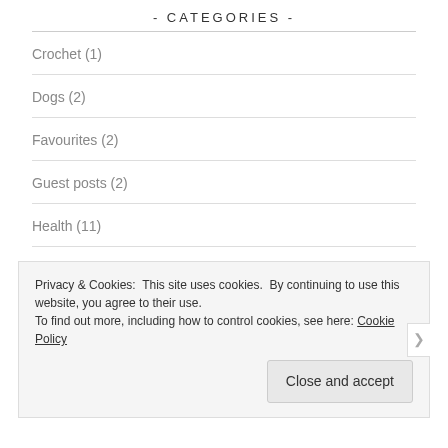- CATEGORIES -
Crochet (1)
Dogs (2)
Favourites (2)
Guest posts (2)
Health (11)
Home (3)
Privacy & Cookies: This site uses cookies. By continuing to use this website, you agree to their use.
To find out more, including how to control cookies, see here: Cookie Policy
Close and accept